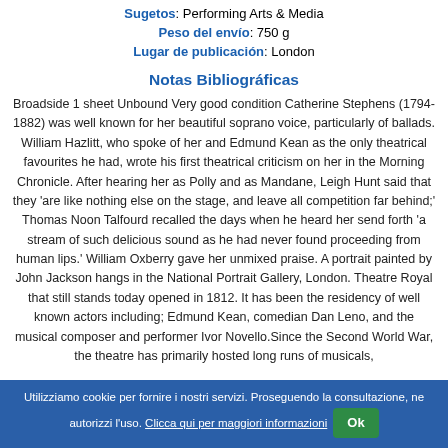Sugetos: Performing Arts & Media
Peso del envío: 750 g
Lugar de publicación: London
Notas Bibliográficas
Broadside 1 sheet Unbound Very good condition Catherine Stephens (1794-1882) was well known for her beautiful soprano voice, particularly of ballads. William Hazlitt, who spoke of her and Edmund Kean as the only theatrical favourites he had, wrote his first theatrical criticism on her in the Morning Chronicle. After hearing her as Polly and as Mandane, Leigh Hunt said that they 'are like nothing else on the stage, and leave all competition far behind;' Thomas Noon Talfourd recalled the days when he heard her send forth 'a stream of such delicious sound as he had never found proceeding from human lips.' William Oxberry gave her unmixed praise. A portrait painted by John Jackson hangs in the National Portrait Gallery, London. Theatre Royal that still stands today opened in 1812. It has been the residency of well known actors including; Edmund Kean, comedian Dan Leno, and the musical composer and performer Ivor Novello.Since the Second World War, the theatre has primarily hosted long runs of musicals,
Utilizziamo cookie per fornire i nostri servizi. Proseguendo la consultazione, ne autorizzi l'uso. Clicca qui per maggiori informazioni Ok